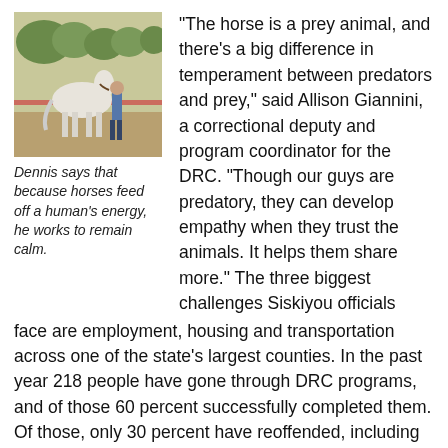[Figure (photo): A person leading a white horse on a dirt ground with trees in the background.]
Dennis says that because horses feed off a human's energy, he works to remain calm.
“The horse is a prey animal, and there’s a big difference in temperament between predators and prey,” said Allison Giannini, a correctional deputy and program coordinator for the DRC. “Though our guys are predatory, they can develop empathy when they trust the animals. It helps them share more.” The three biggest challenges Siskiyou officials face are employment, housing and transportation across one of the state’s largest counties. In the past year 218 people have gone through DRC programs, and of those 60 percent successfully completed them. Of those, only 30 percent have reoffended, including technical violations of probation. Siskiyou County analyzed probation revocations of those who had participated in equine therapy and found that the numbers declined by nearly 40 percent, compared with a 6.6 percent decline for those who did not do the